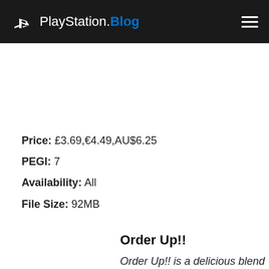PlayStation.Blog
Price: £3.69,€4.49,AU$6.25
PEGI: 7
Availability: All
File Size: 92MB
Order Up!!
Order Up!! is a delicious blend of frantic kitchen cooking and restaurant empire building!